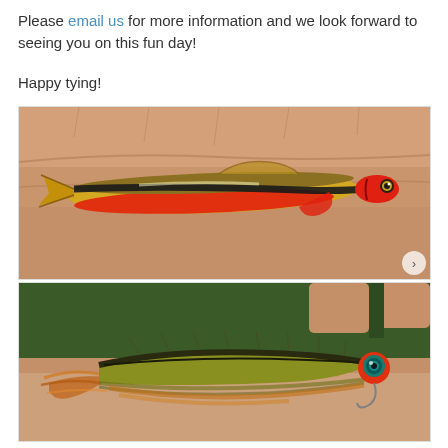Please email us for more information and we look forward to seeing you on this fun day!
Happy tying!
[Figure (photo): A small colorful fish (appearing to be a small minnow or dace with yellow/gold body, black lateral stripe, and red/orange belly) held in a person's palm]
[Figure (photo): A fly fishing lure/streamer fly held in a person's palm, featuring an orange/red bead head with teal eye, yellow-olive and dark brown/black feathers, and orange fur tail — designed to imitate the small fish shown above]